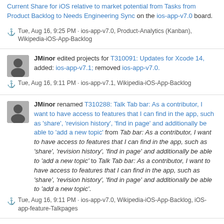Current Share for iOS relative to market potential from Tasks from Product Backlog to Needs Engineering Sync on the ios-app-v7.0 board.
⚓ Tue, Aug 16, 9:25 PM · ios-app-v7.0, Product-Analytics (Kanban), Wikipedia-iOS-App-Backlog
JMinor edited projects for T310091: Updates for Xcode 14, added: ios-app-v7.1; removed ios-app-v7.0.
⚓ Tue, Aug 16, 9:11 PM · ios-app-v7.1, Wikipedia-iOS-App-Backlog
JMinor renamed T310288: Talk Tab bar: As a contributor, I want to have access to features that I can find in the app, such as 'share', 'revision history', 'find in page' and additionally be able to 'add a new topic' from Tab bar: As a contributor, I want to have access to features that I can find in the app, such as 'share', 'revision history', 'find in page' and additionally be able to 'add a new topic' to Talk Tab bar: As a contributor, I want to have access to features that I can find in the app, such as 'share', 'revision history', 'find in page' and additionally be able to 'add a new topic'.
⚓ Tue, Aug 16, 9:11 PM · ios-app-v7.0, Wikipedia-iOS-App-Backlog, iOS-app-feature-Talkpages
JMinor moved T313561: Integrate iOS editing data into